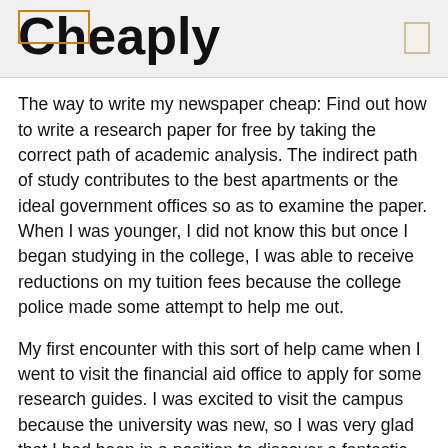Cheaply
The way to write my newspaper cheap: Find out how to write a research paper for free by taking the correct path of academic analysis. The indirect path of study contributes to the best apartments or the ideal government offices so as to examine the paper. When I was younger, I did not know this but once I began studying in the college, I was able to receive reductions on my tuition fees because the college police made some attempt to help me out.
My first encounter with this sort of help came when I went to visit the financial aid office to apply for some research guides. I was excited to visit the campus because the university was new, so I was very glad that I had been in a position to discover a fantastic place to find information.
I went into the student's residence hall and found a bunch of